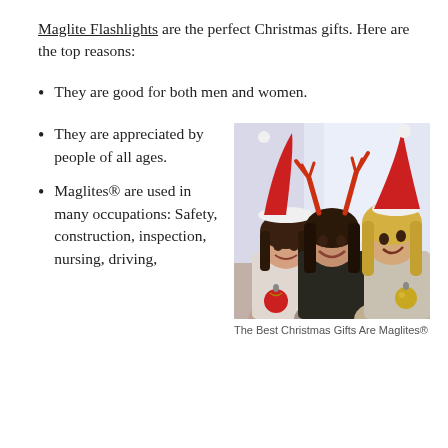Maglite Flashlights are the perfect Christmas gifts. Here are the top reasons:
They are good for both men and women.
They are appreciated by people of all ages.
[Figure (photo): Three smiling young women wearing Christmas hats (Santa hats and reindeer antlers) holding Christmas ornaments, festive holiday scene]
The Best Christmas Gifts Are Maglites®
Maglites® are used in many occupations: Safety, construction, inspection, nursing, driving,